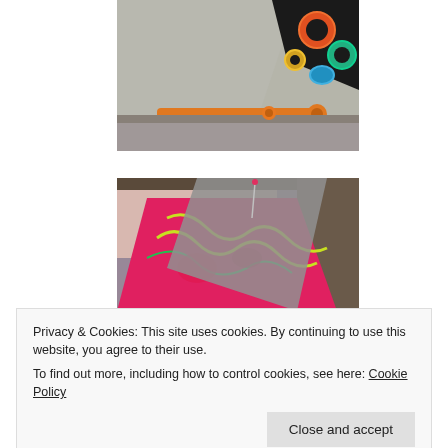[Figure (photo): Close-up photo of fabric being cut with orange-handled scissors/rotary cutter. Grey canvas fabric and colorful patterned fabric visible.]
[Figure (photo): Photo of colorful pink and yellow patterned fabric with grey triangular fabric piece, appearing to be sewn or pinned together.]
Privacy & Cookies: This site uses cookies. By continuing to use this website, you agree to their use.
To find out more, including how to control cookies, see here: Cookie Policy
[Figure (photo): Partial photo of fabric crafting project at bottom of page.]